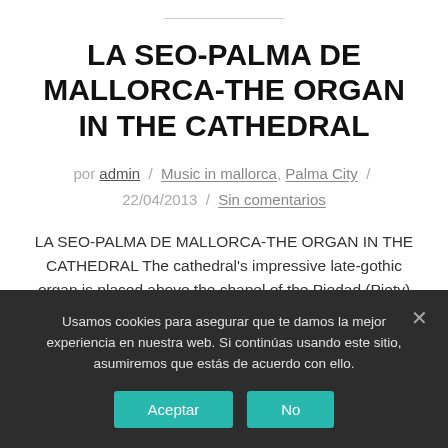LA SEO-PALMA DE MALLORCA-THE ORGAN IN THE CATHEDRAL
por admin / Music in mallorca, Palma City / 22/04/2013 / Sin comentarios
LA SEO-PALMA DE MALLORCA-THE ORGAN IN THE CATHEDRAL The cathedral's impressive late-gothic organ is placed above the chapel of the Piedad (Piety)
Usamos cookies para asegurar que te damos la mejor experiencia en nuestra web. Si continúas usando este sitio, asumiremos que estás de acuerdo con ello.